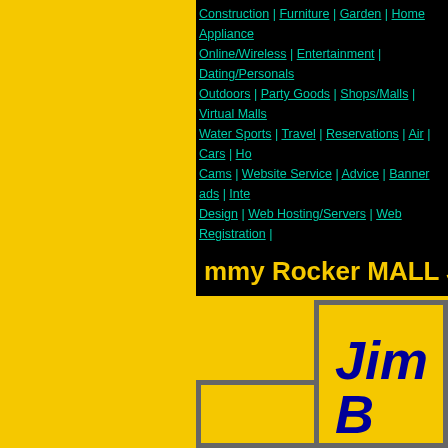[Figure (screenshot): Navigation bar on black background with teal/cyan hyperlinks for various shopping categories including Construction, Furniture, Garden, Home Appliance, Online/Wireless, Entertainment, Dating/Personals, Outdoors, Party Goods, Shops/Malls, Virtual Malls, Water Sports, Travel, Reservations, Air, Cars, Cams, Website Service, Advice, Banner ads, Design, Web Hosting/Servers, Web Registration separated by pipe characters]
mmy Rocker MALL Jim
[Figure (screenshot): Yellow background page section with a bordered box containing partial text 'Jim' and 'B' in dark blue bold italic font, on yellow background with grey border frames]